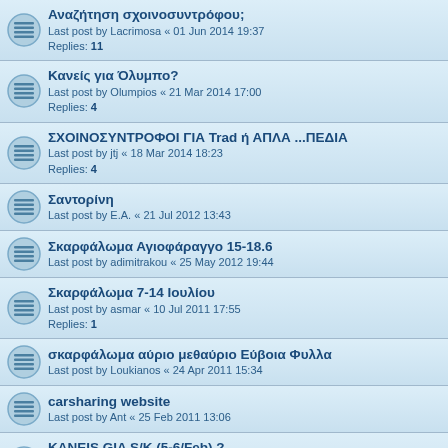Αναζήτηση σχοινοσυντρόφου;
Last post by Lacrimosa « 01 Jun 2014 19:37
Replies: 11
Κανείς για Όλυμπο?
Last post by Olumpios « 21 Mar 2014 17:00
Replies: 4
ΣΧΟΙΝΟΣΥΝΤΡΟΦΟΙ ΓΙΑ Trad ή ΑΠΛΑ ...ΠΕΔΙΑ
Last post by jtj « 18 Mar 2014 18:23
Replies: 4
Σαντορίνη
Last post by E.A. « 21 Jul 2012 13:43
Σκαρφάλωμα Αγιοφάραγγο 15-18.6
Last post by adimitrakou « 25 May 2012 19:44
Σκαρφάλωμα 7-14 Ιουλίου
Last post by asmar « 10 Jul 2011 17:55
Replies: 1
σκαρφάλωμα αύριο μεθαύριο Εύβοια Φυλλα
Last post by Loukianos « 24 Apr 2011 15:34
carsharing website
Last post by Ant « 25 Feb 2011 13:06
KANEIS GIA S/K (5-6/Feb) ?
Last post by gtg « 05 Feb 2011 10:54
Replies: 3
Αθήνα-Μετέωρα Παρασκευή Απόγευμα?
Last post by teochristopoulos « 24 Sep 2010 01:32
Replies: 2